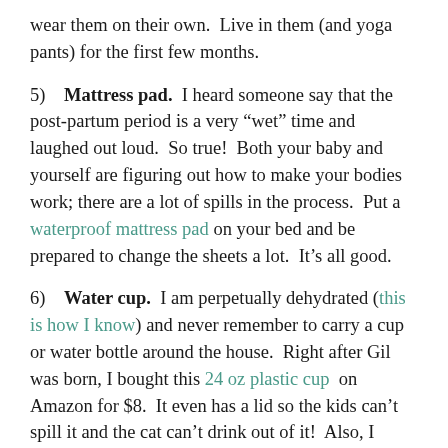wear them on their own.  Live in them (and yoga pants) for the first few months.
5)  Mattress pad.  I heard someone say that the post-partum period is a very “wet” time and laughed out loud.  So true!  Both your baby and yourself are figuring out how to make your bodies work; there are a lot of spills in the process.  Put a waterproof mattress pad on your bed and be prepared to change the sheets a lot.  It’s all good.
6)  Water cup.  I am perpetually dehydrated (this is how I know) and never remember to carry a cup or water bottle around the house.  Right after Gil was born, I bought this 24 oz plastic cup on Amazon for $8.  It even has a lid so the kids can’t spill it and the cat can’t drink out of it!  Also, I always fill it up before I get in the car so I have something to sip on while driving.
7)  Moving on...  The next part of the article...